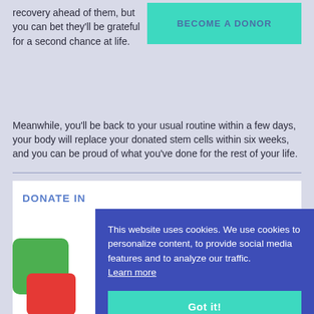recovery ahead of them, but you can bet they'll be grateful for a second chance at life.
[Figure (other): Teal 'BECOME A DONOR' button]
Meanwhile, you'll be back to your usual routine within a few days, your body will replace your donated stem cells within six weeks, and you can be proud of what you've done for the rest of your life.
DONATE IN
This website uses cookies. We use cookies to personalize content, to provide social media features and to analyze our traffic. Learn more
[Figure (other): Got it! button in teal]